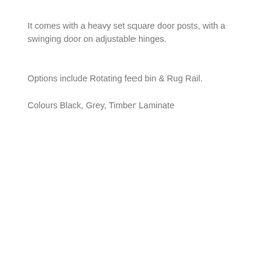It comes with a heavy set square door posts, with a swinging door on adjustable hinges.
Options include Rotating feed bin & Rug Rail.
Colours Black, Grey, Timber Laminate